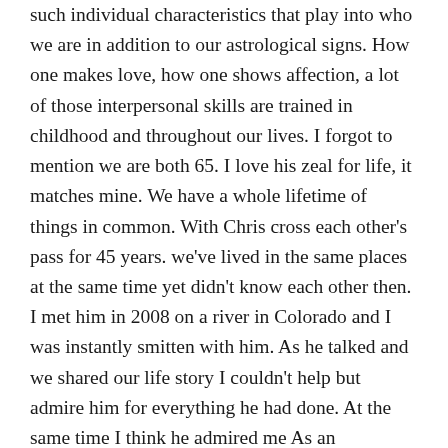such individual characteristics that play into who we are in addition to our astrological signs. How one makes love, how one shows affection, a lot of those interpersonal skills are trained in childhood and throughout our lives. I forgot to mention we are both 65. I love his zeal for life, it matches mine. We have a whole lifetime of things in common. With Chris cross each other's pass for 45 years. we've lived in the same places at the same time yet didn't know each other then. I met him in 2008 on a river in Colorado and I was instantly smitten with him. As he talked and we shared our life story I couldn't help but admire him for everything he had done. At the same time I think he admired me As an independent female unmarried most of my life; rock climber, mountaineer. I ride a motorcycle we had so many things in common. We saw the adventurer in each other as a compatibility. Can't wait to share more adventures with him in our last chapter of